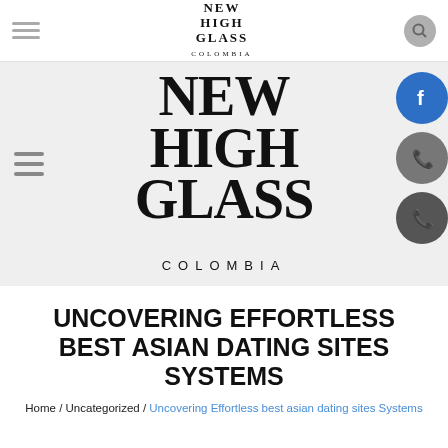[Figure (logo): New High Glass Colombia logo small in top navigation bar]
[Figure (logo): New High Glass Colombia large logo in hero banner area]
UNCOVERING EFFORTLESS BEST ASIAN DATING SITES SYSTEMS
Home / Uncategorized / Uncovering Effortless best asian dating sites Systems